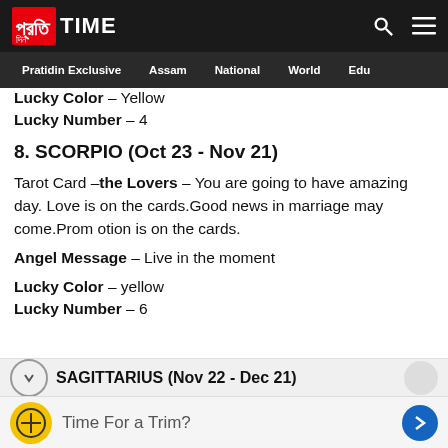Pratidin Time — navigation bar with logo, search, menu icons, and links: Pratidin Exclusive, Assam, National, World, Edu
Lucky Color – Yellow
Lucky Number – 4
8. SCORPIO (Oct 23 - Nov 21)
Tarot Card –the Lovers – You are going to have amazing day. Love is on the cards.Good news in marriage may come.Prom otion is on the cards.
Angel Message – Live in the moment
Lucky Color – yellow
Lucky Number – 6
SAGITTARIUS (Nov 22 - Dec 21)
Time For a Trim?